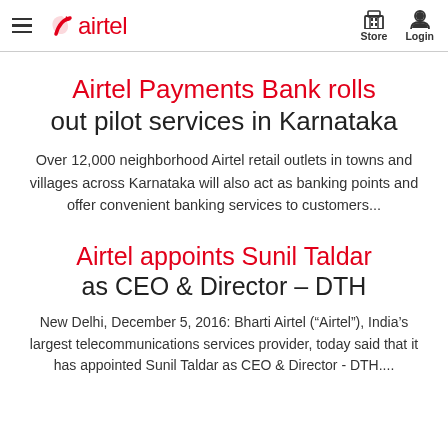airtel | Store | Login
Airtel Payments Bank rolls out pilot services in Karnataka
Over 12,000 neighborhood Airtel retail outlets in towns and villages across Karnataka will also act as banking points and offer convenient banking services to customers...
Airtel appoints Sunil Taldar as CEO & Director – DTH
New Delhi, December 5, 2016: Bharti Airtel ("Airtel"), India's largest telecommunications services provider, today said that it has appointed Sunil Taldar as CEO & Director - DTH....